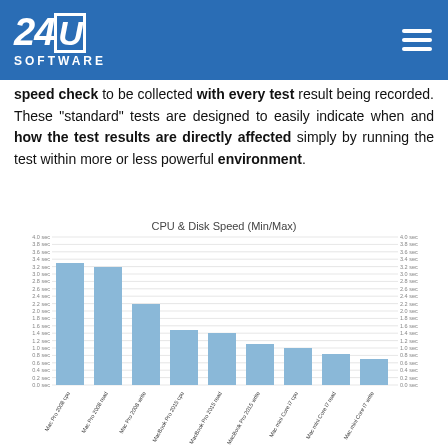[Figure (logo): 24U Software logo in white on blue header bar with hamburger menu icon]
speed check to be collected with every test result being recorded. These "standard" tests are designed to easily indicate when and how the test results are directly affected simply by running the test within more or less powerful environment.
[Figure (bar-chart): CPU & Disk Speed (Min/Max)]